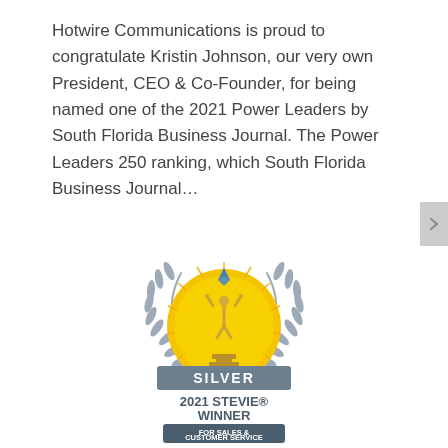Hotwire Communications is proud to congratulate Kristin Johnson, our very own President, CEO & Co-Founder, for being named one of the 2021 Power Leaders by South Florida Business Journal. The Power Leaders 250 ranking, which South Florida Business Journal...
[Figure (logo): Silver 2021 Stevie Winner for Sales & Customer Service award logo — a golden sunburst medallion with a trophy figure holding a star, flanked by grey laurel branches, with a dark blue-grey banner reading SILVER and below it 2021 STEVIE WINNER FOR SALES & CUSTOMER SERVICE]